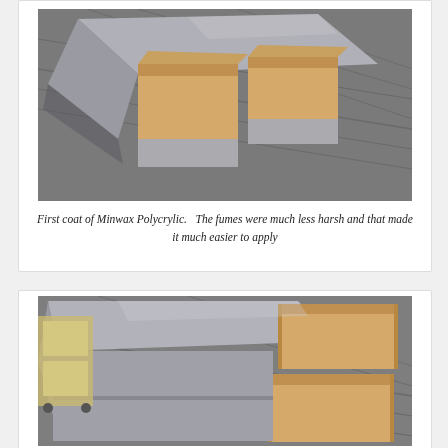[Figure (photo): Top-down photo of a gray painted furniture piece (bench or cabinet) with open wooden drawers pulled out, sitting on a patterned gray carpet floor. First coat of Minwax Polycrylic visible on the surface.]
First coat of Minwax Polycrylic.   The fumes were much less harsh and that made it much easier to apply
[Figure (photo): Angled photo of a gray painted furniture piece (bench or cabinet) with wooden drawers open, sitting on a patterned gray carpet floor. Additional shelving/cart visible in background.]